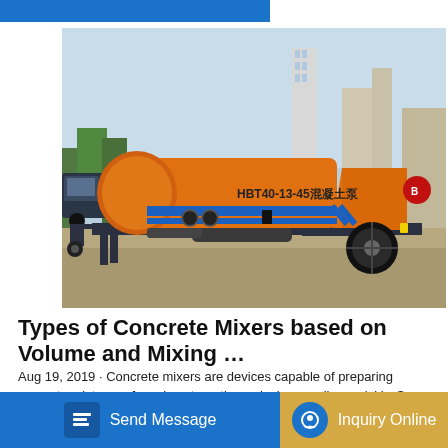[Figure (photo): Orange and dark blue HBT40-13-45 concrete pump truck on a trailer with large black tires, parked on a paved surface. Text on the machine reads HBT40-13-45混凝土泵. Buildings and trees visible in the background.]
Types of Concrete Mixers based on Volume and Mixing …
Aug 19, 2019 · Concrete mixers are devices capable of preparing concrete mixtures of varying strength precisely as well as quickly. Some concrete mixers are even capable of ure di the re concrete mixers of various sizes and types are available
Send Message
Inquiry Online